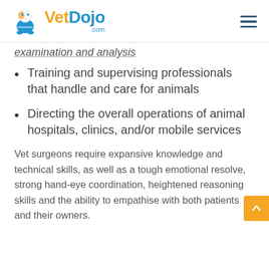VetDojo.com
examination and analysis
Training and supervising professionals that handle and care for animals
Directing the overall operations of animal hospitals, clinics, and/or mobile services
Vet surgeons require expansive knowledge and technical skills, as well as a tough emotional resolve, strong hand-eye coordination, heightened reasoning skills and the ability to empathise with both patients and their owners.